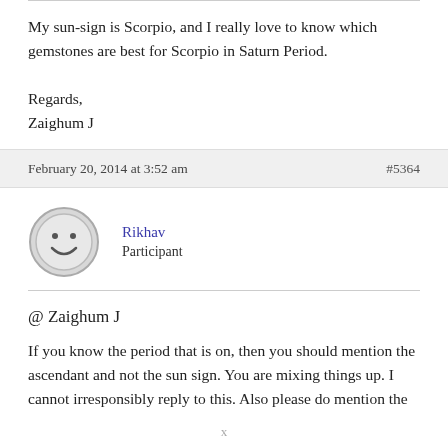My sun-sign is Scorpio, and I really love to know which gemstones are best for Scorpio in Saturn Period.

Regards,
Zaighum J
February 20, 2014 at 3:52 am
#5364
Rikhav
Participant
@ Zaighum J

If you know the period that is on, then you should mention the ascendant and not the sun sign. You are mixing things up. I cannot irresponsibly reply to this. Also please do mention the